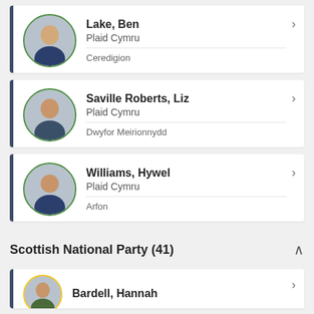Lake, Ben | Plaid Cymru | Ceredigion
Saville Roberts, Liz | Plaid Cymru | Dwyfor Meirionnydd
Williams, Hywel | Plaid Cymru | Arfon
Scottish National Party (41)
Bardell, Hannah